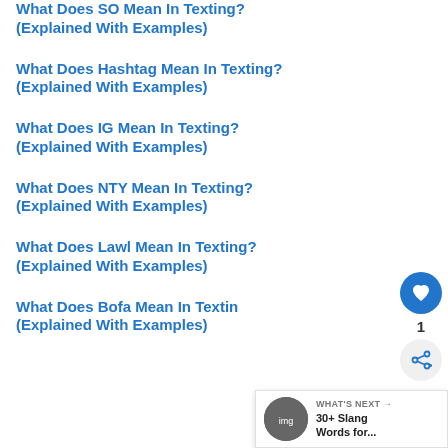What Does SO Mean In Texting? (Explained With Examples)
What Does Hashtag Mean In Texting? (Explained With Examples)
What Does IG Mean In Texting? (Explained With Examples)
What Does NTY Mean In Texting? (Explained With Examples)
What Does Lawl Mean In Texting? (Explained With Examples)
What Does Bofa Mean In Texting? (Explained With Examples)